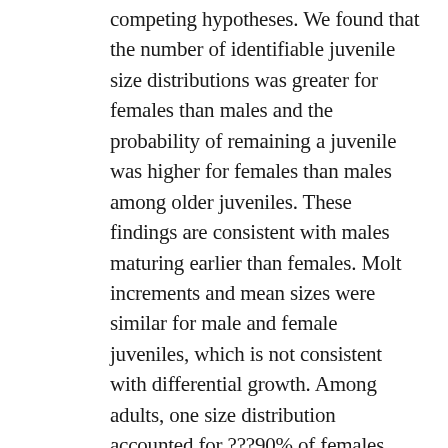competing hypotheses. We found that the number of identifiable juvenile size distributions was greater for females than males and the probability of remaining a juvenile was higher for females than males among older juveniles. These findings are consistent with males maturing earlier than females. Molt increments and mean sizes were similar for male and female juveniles, which is not consistent with differential growth. Among adults, one size distribution accounted for ???90% of females regardless of carapace wear. Also, size ratio of adult females to males was 1.26, and size ratio of the largest adult to largest juvenile female was 1.28. These observations are not consistent with females continuing to molt as adults. Differential-maturity is the most parsimonious explanation for sexual size dimorphism in